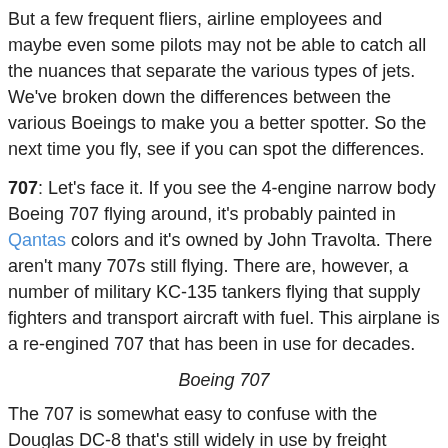But a few frequent fliers, airline employees and maybe even some pilots may not be able to catch all the nuances that separate the various types of jets. We've broken down the differences between the various Boeings to make you a better spotter. So the next time you fly, see if you can spot the differences.
707: Let's face it. If you see the 4-engine narrow body Boeing 707 flying around, it's probably painted in Qantas colors and it's owned by John Travolta. There aren't many 707s still flying. There are, however, a number of military KC-135 tankers flying that supply fighters and transport aircraft with fuel. This airplane is a re-engined 707 that has been in use for decades.
Boeing 707
The 707 is somewhat easy to confuse with the Douglas DC-8 that's still widely in use by freight operators. But the DC-8 has